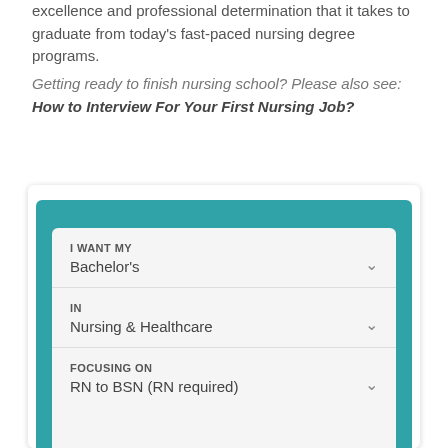excellence and professional determination that it takes to graduate from today's fast-paced nursing degree programs.
Getting ready to finish nursing school? Please also see: How to Interview For Your First Nursing Job?
[Figure (screenshot): Interactive web form widget with teal background containing three dropdown selectors: 'I WANT MY' set to Bachelor's, 'IN' set to Nursing & Healthcare, 'FOCUSING ON' set to RN to BSN (RN required)]